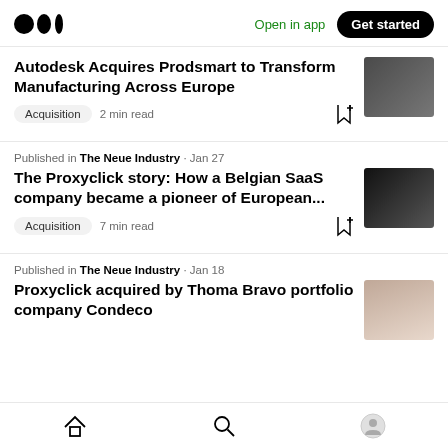Medium logo | Open in app | Get started
Autodesk Acquires Prodsmart to Transform Manufacturing Across Europe
Acquisition · 2 min read
Published in The Neue Industry · Jan 27
The Proxyclick story: How a Belgian SaaS company became a pioneer of European...
Acquisition · 7 min read
Published in The Neue Industry · Jan 18
Proxyclick acquired by Thoma Bravo portfolio company Condeco
Home | Search | Profile